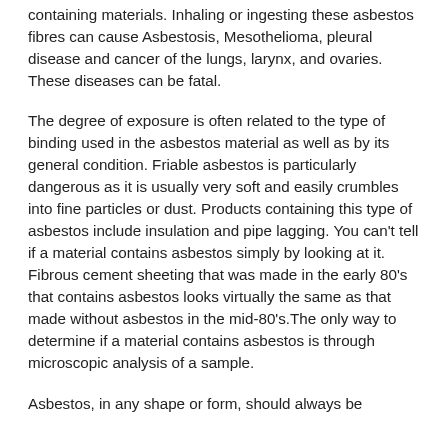containing materials. Inhaling or ingesting these asbestos fibres can cause Asbestosis, Mesothelioma, pleural disease and cancer of the lungs, larynx, and ovaries.  These diseases can be fatal.
The degree of exposure is often related to the type of binding used in the asbestos material as well as by its general condition. Friable asbestos is particularly dangerous as it is usually very soft and easily crumbles into fine particles or dust. Products containing this type of asbestos include insulation and pipe lagging. You can't tell if a material contains asbestos simply by looking at it. Fibrous cement sheeting that was made in the early 80's that contains asbestos looks virtually the same as that made without asbestos in the mid-80's.The only way to determine if a material contains asbestos is through microscopic analysis of a sample.
Asbestos, in any shape or form, should always be